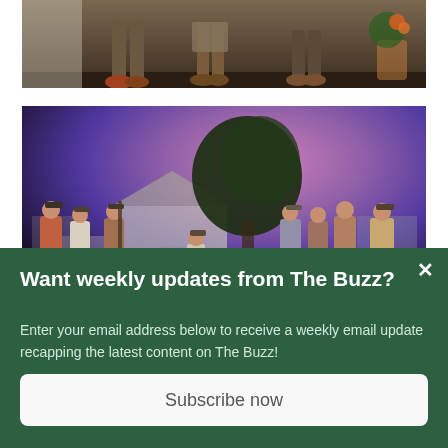[Figure (photo): Theater stage photo showing actors' feet and lower legs on a wooden stage, with a porch backdrop including wooden siding and a potted plant with orange flowers.]
[Figure (photo): Theater stage photo with purple and pink lighting showing multiple actors in period costume standing around a seated figure on a chair, with a house backdrop and tree, and a small lantern on the stage floor.]
Want weekly updates from The Buzz?
Enter your email address below to receive a weekly email update recapping the latest content on The Buzz!
Subscribe now